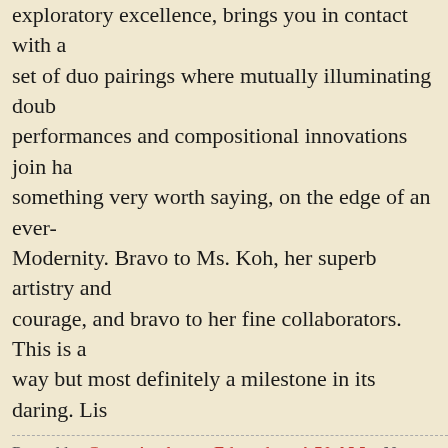exploratory excellence, brings you in contact with a set of duo pairings where mutually illuminating double performances and compositional innovations join hand, something very worth saying, on the edge of an ever- Modernity. Bravo to Ms. Koh, her superb artistry and courage, and bravo to her fine collaborators. This is a way but most definitely a milestone in its daring. Lis
Posted by Grego Applegate Edwards at 4:50 AM   No
[Figure (other): Social share buttons: Email (M), BlogThis (B), Twitter (t), Facebook (f), Pinterest (pin icon)]
Labels: jennifer koh limitless duos performed with the c gapplegate classical-modern review, modern new music composition improvisation, new music violin brilliance
Wednesday, December 11, 2019